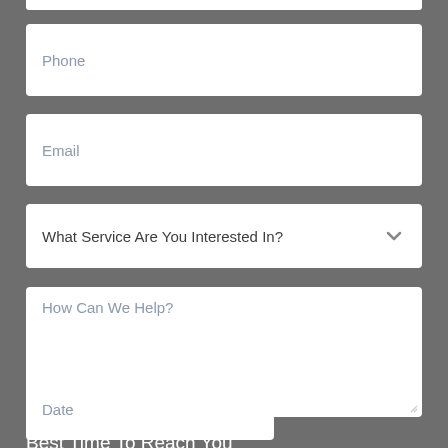[Figure (screenshot): Web contact form showing input fields: Phone, Email, a dropdown 'What Service Are You Interested In?', a textarea 'How Can We Help?', a section label 'Best Time To Reach You', and a Date input field, on a gray background.]
Phone
Email
What Service Are You Interested In?
How Can We Help?
Best Time To Reach You
Date